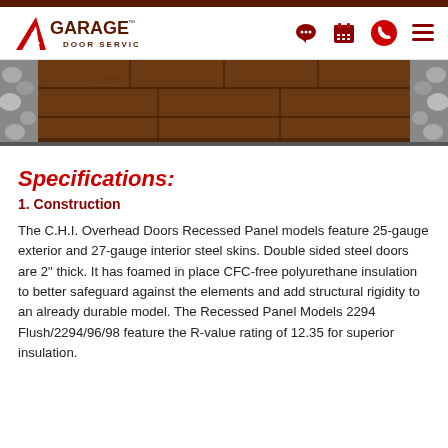A1 Garage Door Service
[Figure (photo): Photo of a dark wood-grain recessed panel garage door flanked by stone pillars]
Specifications:
1. Construction
The C.H.I. Overhead Doors Recessed Panel models feature 25-gauge exterior and 27-gauge interior steel skins. Double sided steel doors are 2" thick. It has foamed in place CFC-free polyurethane insulation to better safeguard against the elements and add structural rigidity to an already durable model. The Recessed Panel Models 2294 Flush/2294/96/98 feature the R-value rating of 12.35 for superior insulation.